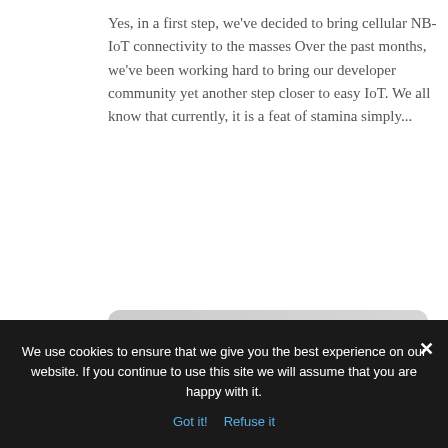Yes, in a first step, we've decided to bring cellular NB-IoT connectivity to the masses Over the past months, we've been working hard to bring our developer community yet another step closer to easy IoT. We all know that currently, it is a feat of stamina simply...
[Figure (photo): A Pycom GPy IoT development board (small black PCB module) with visible pins, labeled with Bluetooth, WiFi, LTE CAT M1/NB1 connectivity options and the Pycom logo, photographed on a light gray background.]
We use cookies to ensure that we give you the best experience on our website. If you continue to use this site we will assume that you are happy with it.
Got it!  Refuse it